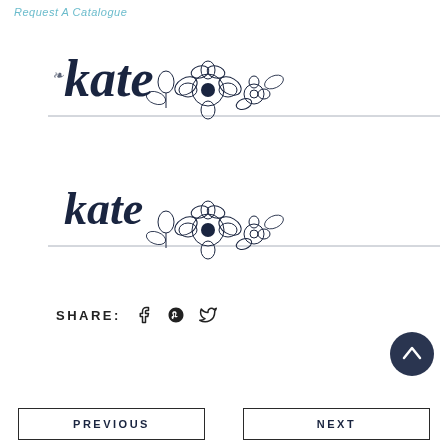Request A Catalogue
[Figure (illustration): Place card design 1: cursive 'kate' text with decorative floral divider line]
[Figure (illustration): Place card design 2: cursive 'kate' text with decorative floral divider line (slightly smaller)]
SHARE: [facebook] [pinterest] [twitter]
[Figure (other): Scroll-to-top button, dark circle with upward arrow]
PREVIOUS
NEXT